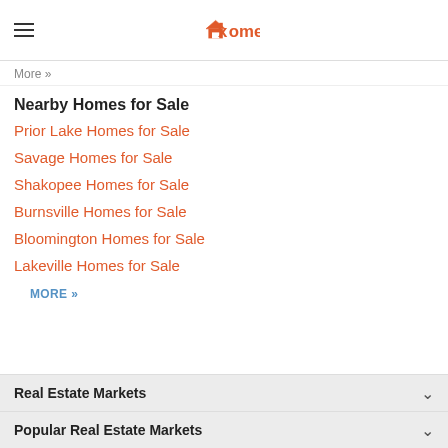xome
More »
Nearby Homes for Sale
Prior Lake Homes for Sale
Savage Homes for Sale
Shakopee Homes for Sale
Burnsville Homes for Sale
Bloomington Homes for Sale
Lakeville Homes for Sale
MORE »
Real Estate Markets
Popular Real Estate Markets